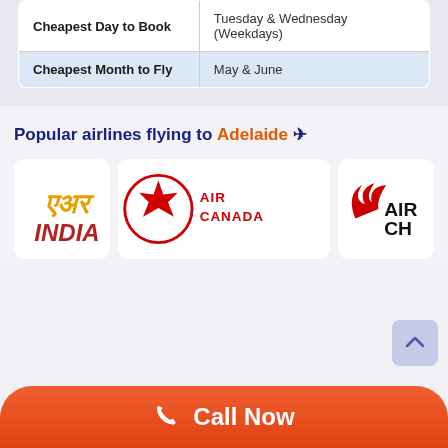|  |  |
| --- | --- |
| Cheapest Day to Book | Tuesday & Wednesday (Weekdays) |
| Cheapest Month to Fly | May & June |
Popular airlines flying to Adelaide ✈
[Figure (logo): Air India logo (partially visible), Air Canada logo (red maple leaf in circle with AIR CANADA text), Air China logo (partially visible with red phoenix symbol and AIR CH text)]